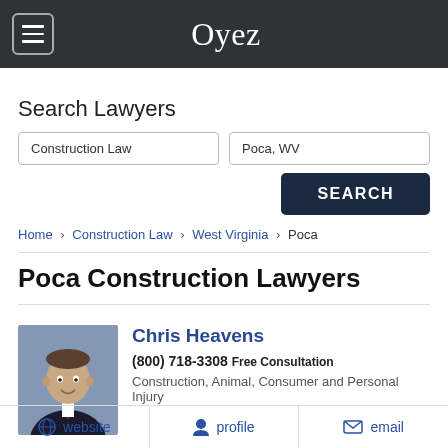Oyez
Search Lawyers
Construction Law | Poca, WV
SEARCH
Home › Construction Law › West Virginia › Poca
Poca Construction Lawyers
Chris Heavens
(800) 718-3308 Free Consultation
Construction, Animal, Consumer and Personal Injury
website   profile   email